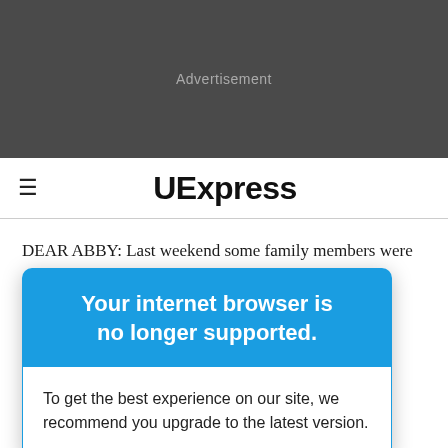Advertisement
UExpress
DEAR ABBY: Last weekend some family members were ... ar-old son and ... laying in the ... kids.
Your internet browser is no longer supported.
To get the best experience on our site, we recommend you upgrade to the latest version.
Advertisement